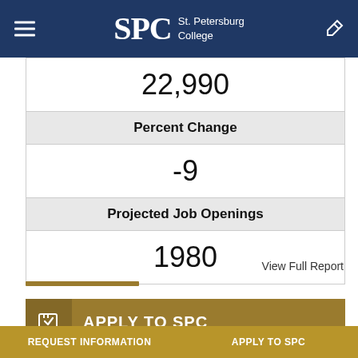SPC St. Petersburg College
| 22,990 |
| Percent Change |
| -9 |
| Projected Job Openings |
| 1980 |
View Full Report
APPLY TO SPC
REQUEST INFORMATION    APPLY TO SPC